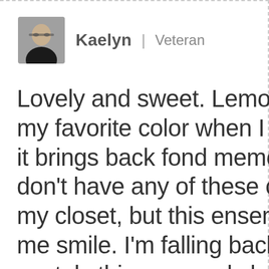[Figure (photo): Small square avatar photo of a woman with glasses and dark hair wearing a dark patterned top]
Kaelyn | Veteran
Lovely and sweet. Lemon yellow was my favorite color when I was a child, it brings back fond memories for me. I don't have any of these components in my closet, but this ensemble still makes me smile. I'm falling back in love with pastels this year and slowly adding them to my wardrobe.